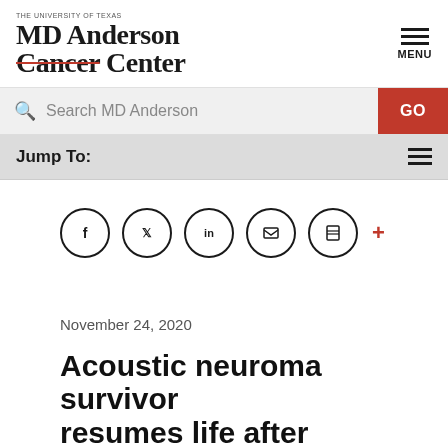[Figure (logo): MD Anderson Cancer Center logo with 'THE UNIVERSITY OF TEXAS' text above, 'MD Anderson' in large serif font, and 'Cancer Center' with Cancer struck through in red]
[Figure (other): Hamburger menu icon with three horizontal lines and MENU label below]
Search MD Anderson
GO
Jump To:
[Figure (other): Social media share icons: Facebook, Twitter, LinkedIn, Email/bookmark, Print circles, and a red plus sign]
November 24, 2020
Acoustic neuroma survivor resumes life after Gamma Knife®